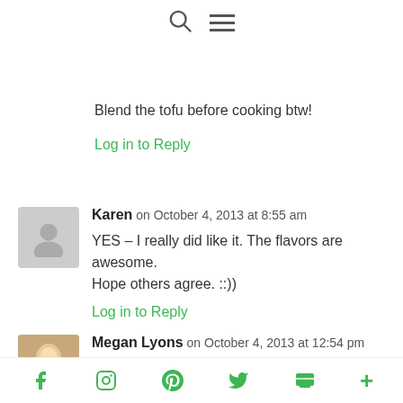[search icon] [menu icon]
Blend the tofu before cooking btw!
Log in to Reply
Karen on October 4, 2013 at 8:55 am
YES – I really did like it. The flavors are awesome.
Hope others agree. ::))
Log in to Reply
Megan Lyons on October 4, 2013 at 12:54 pm
Thanks for being my taste tester Mom!